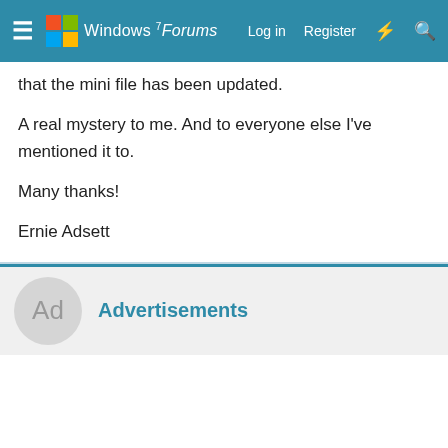Windows 7 Forums — Log in | Register
that the mini file has been updated.
A real mystery to me. And to everyone else I've mentioned it to.
Many thanks!
Ernie Adsett
Advertisements